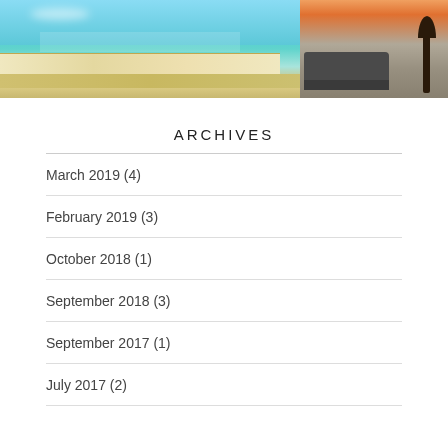[Figure (photo): Two photos side by side: left shows a beach resort with buildings along a waterfront pier under blue sky with turquoise water; right shows an RV parked at sunset with a tree silhouette.]
ARCHIVES
March 2019 (4)
February 2019 (3)
October 2018 (1)
September 2018 (3)
September 2017 (1)
July 2017 (2)